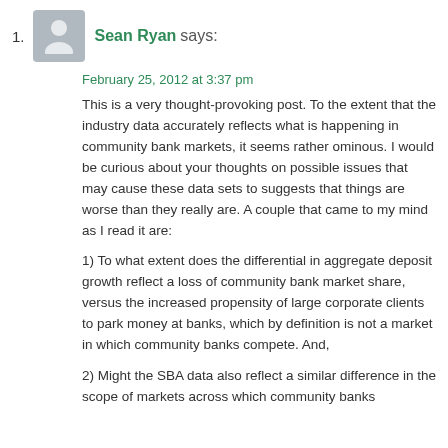1. Sean Ryan says:
February 25, 2012 at 3:37 pm
This is a very thought-provoking post. To the extent that the industry data accurately reflects what is happening in community bank markets, it seems rather ominous. I would be curious about your thoughts on possible issues that may cause these data sets to suggests that things are worse than they really are. A couple that came to my mind as I read it are:
1) To what extent does the differential in aggregate deposit growth reflect a loss of community bank market share, versus the increased propensity of large corporate clients to park money at banks, which by definition is not a market in which community banks compete. And,
2) Might the SBA data also reflect a similar difference in the scope of markets across which community banks